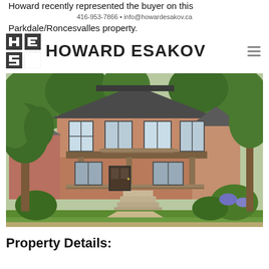Howard recently represented the buyer on this
416-953-7866 • info@howardesakov.ca
Parkdale/Roncesvalles property.
[Figure (logo): Howard Esakov real estate logo with stylized HE monogram icon and name in bold sans-serif, plus hamburger menu icon]
[Figure (photo): Exterior photo of a two-storey red brick house in Parkdale/Roncesvalles neighbourhood with a front porch, green lush trees and garden in summer]
Property Details: